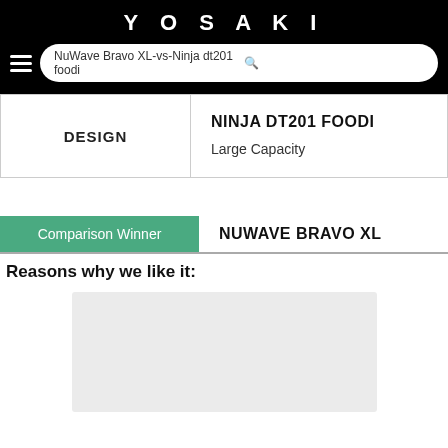YOSAKI
NuWave Bravo XL-vs-Ninja dt201 foodi
|  | NINJA DT201 FOODI |
| --- | --- |
| DESIGN | Large Capacity |
Comparison Winner  NUWAVE BRAVO XL
Reasons why we like it:
[Figure (photo): Light gray placeholder image area]